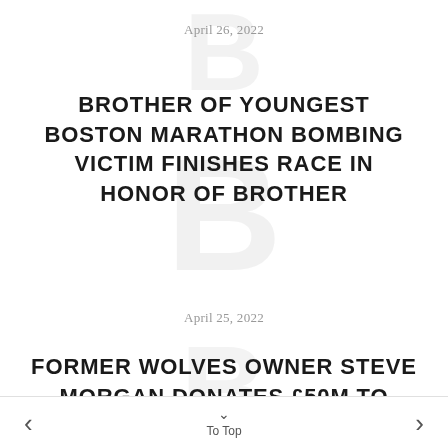April 26, 2022
BROTHER OF YOUNGEST BOSTON MARATHON BOMBING VICTIM FINISHES RACE IN HONOR OF BROTHER
April 25, 2022
FORMER WOLVES OWNER STEVE MORGAN DONATES £50M TO HELP
< To Top >